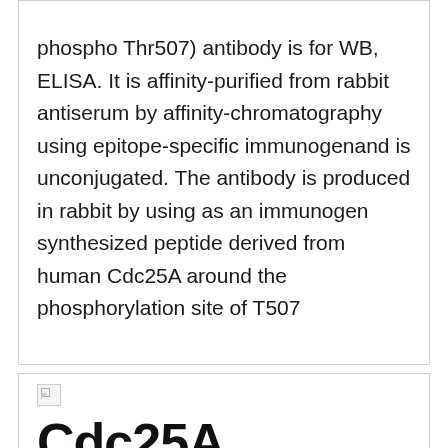phospho Thr507) antibody is for WB, ELISA. It is affinity-purified from rabbit antiserum by affinity-chromatography using epitope-specific immunogenand is unconjugated. The antibody is produced in rabbit by using as an immunogen synthesized peptide derived from human Cdc25A around the phosphorylation site of T507
Cdc25A (phospho Thr507) Polyclonal